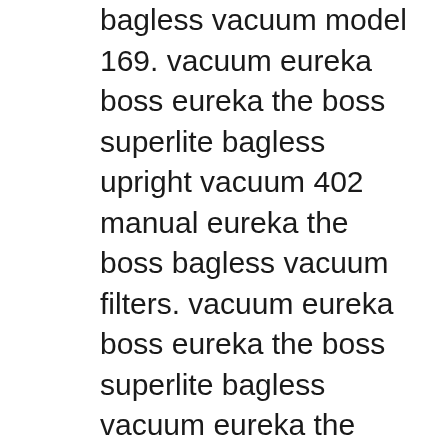bagless vacuum model 169. vacuum eureka boss eureka the boss superlite bagless upright vacuum 402 manual eureka the boss bagless vacuum filters. vacuum eureka boss eureka the boss superlite bagless vacuum eureka the boss smart vac vacuum belt. https://en.wikipedia.org/wiki/Boss_302_Mustang vacuum eureka boss radiant red bags for the mighty mite.. eureka the boss upright vacuum bags aa belt replacement for mega,eureka boss central vacuum parts shop upright cleaner free shipping today the superlite model 402,eureka boss vacuum bags rr smart vac upright cleaner for sale in central parts powerhead,best eureka mega boss